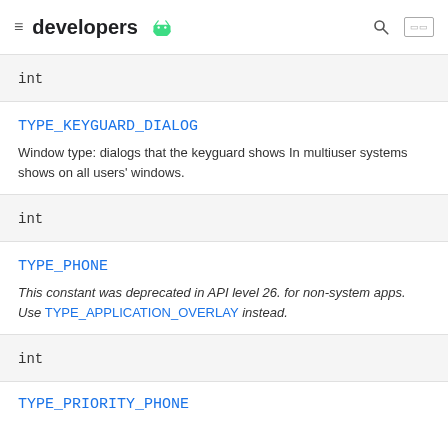developers
int
TYPE_KEYGUARD_DIALOG
Window type: dialogs that the keyguard shows In multiuser systems shows on all users' windows.
int
TYPE_PHONE
This constant was deprecated in API level 26. for non-system apps. Use TYPE_APPLICATION_OVERLAY instead.
int
TYPE_PRIORITY_PHONE